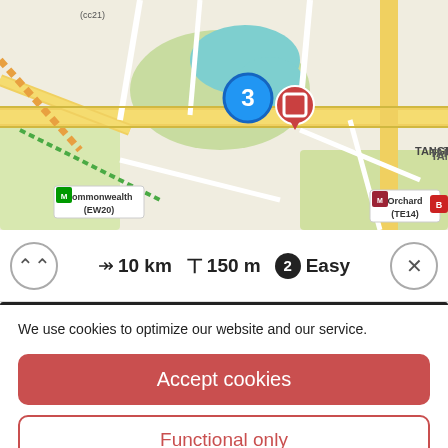[Figure (map): Street map showing Tanglin area of Singapore with roads, water features, MRT stations (Commonwealth EW20, Orchard TE14). Blue circle marker with number 3 and red pin marker visible. Map shows roads, greenery, and water bodies.]
→ 10 km  T 150 m  ② Easy
We use cookies to optimize our website and our service.
Accept cookies
Functional only
View preferences
Cookie Policy   Privacy Policy